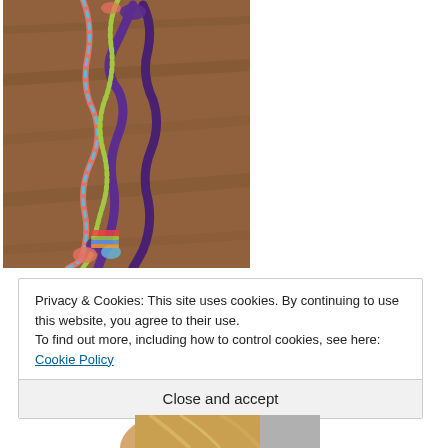[Figure (photo): Braided fabric dog toy leash on a wooden floor, made of colorful purple, multicolored striped and patterned fabric strips, photographed from above]
Privacy & Cookies: This site uses cookies. By continuing to use this website, you agree to their use.
To find out more, including how to control cookies, see here: Cookie Policy
Close and accept
[Figure (photo): Partial view of a person with blonde hair, head cropped at bottom of page]